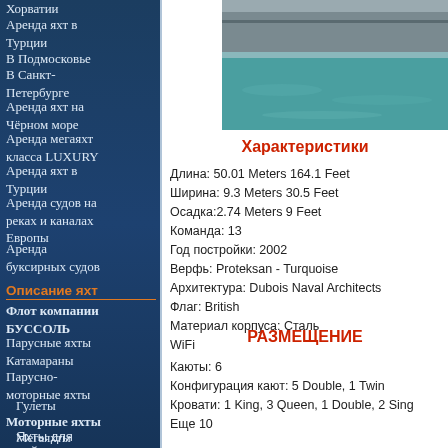Хорватии
Аренда яхт в Турции
В Подмосковье
В Санкт-Петербурге
Аренда яхт на Чёрном море
Аренда мегаяхт класса LUXURY
Аренда яхт в Турции
Аренда судов на реках и каналах Европы
Аренда буксирных судов
Описание яхт
Флот компании БУССОЛЬ
Парусные яхты
Катамараны
Парусно-моторные яхты
Гулеты
Моторные яхты
Мегаяхты
Яхты для дайвинга в
[Figure (photo): Partial view of a yacht hull above water, teal sea visible below]
Характеристики
Длина: 50.01 Meters 164.1 Feet
Ширина: 9.3 Meters 30.5 Feet
Осадка:2.74 Meters 9 Feet
Команда: 13
Год постройки: 2002
Верфь: Proteksan - Turquoise
Архитектура: Dubois Naval Architects
Флаг: British
Материал корпуса: Сталь
WiFi
РАЗМЕЩЕНИЕ
Каюты: 6
Конфигурация кают: 5 Double, 1 Twin
Кровати: 1 King, 3 Queen, 1 Double, 2 Sing
Еще 10